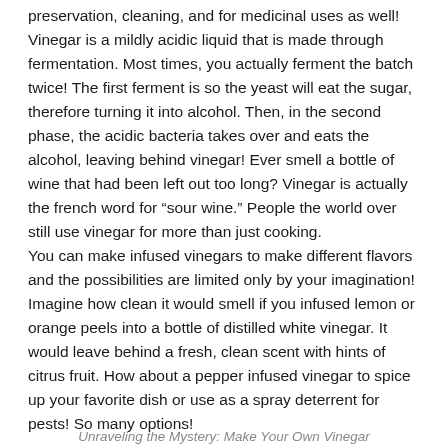preservation, cleaning, and for medicinal uses as well! Vinegar is a mildly acidic liquid that is made through fermentation. Most times, you actually ferment the batch twice! The first ferment is so the yeast will eat the sugar, therefore turning it into alcohol. Then, in the second phase, the acidic bacteria takes over and eats the alcohol, leaving behind vinegar! Ever smell a bottle of wine that had been left out too long? Vinegar is actually the french word for “sour wine.” People the world over still use vinegar for more than just cooking.
You can make infused vinegars to make different flavors and the possibilities are limited only by your imagination! Imagine how clean it would smell if you infused lemon or orange peels into a bottle of distilled white vinegar. It would leave behind a fresh, clean scent with hints of citrus fruit. How about a pepper infused vinegar to spice up your favorite dish or use as a spray deterrent for pests! So many options!
Unraveling the Mystery: Make Your Own Vinegar